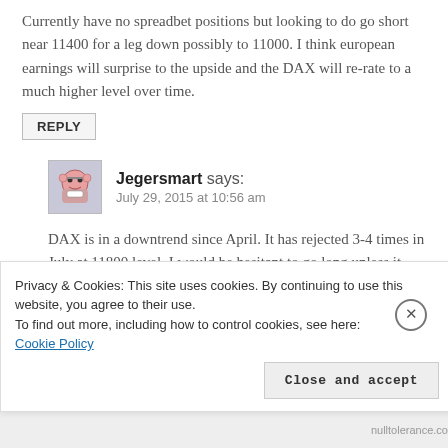Currently have no spreadbet positions but looking to do go short near 11400 for a leg down possibly to 11000. I think european earnings will surprise to the upside and the DAX will re-rate to a much higher level over time.
REPLY
Jegersmart says: July 29, 2015 at 10:56 am
DAX is in a downtrend since April. It has rejected 3-4 times in July at 11800 level. I would be hesitant to go long unless it breaks 11800 convincingly on a...
Privacy & Cookies: This site uses cookies. By continuing to use this website, you agree to their use.
To find out more, including how to control cookies, see here: Cookie Policy
Close and accept